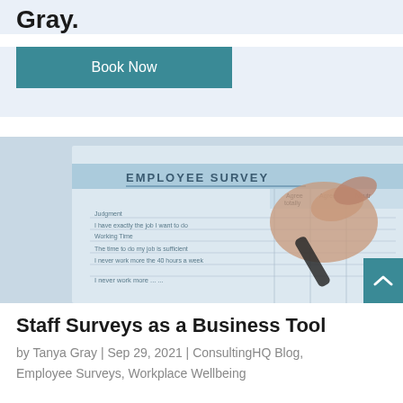Gray.
Book Now
[Figure (photo): Close-up photograph of an Employee Survey form being filled out with a pen. The form shows columns for 'Agree totally', 'Agree', 'Neutral' and rows including 'Judgment', 'I have exactly the job I want to do', 'Working Time', 'The time to do my job is sufficient', 'I never work more the 40 hours a week'.]
Staff Surveys as a Business Tool
by Tanya Gray | Sep 29, 2021 | ConsultingHQ Blog, Employee Surveys, Workplace Wellbeing